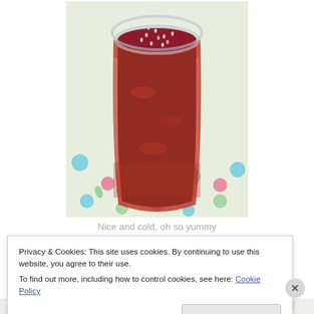[Figure (photo): Overhead view of a glass jar filled with dark red raspberry chia jam, sitting on a floral patterned fabric background with blue, pink, red and green flowers]
Nice and cold, oh so yummy
Privacy & Cookies: This site uses cookies. By continuing to use this website, you agree to their use. To find out more, including how to control cookies, see here: Cookie Policy